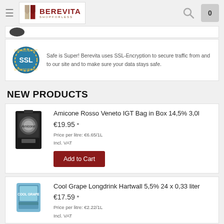BEREVITA SHOPFORLESS — header with search and cart
Safe is Super! Berevita uses SSL-Encryption to secure traffic from and to our site and to make sure your data stays safe.
NEW PRODUCTS
Amicone Rosso Veneto IGT Bag in Box 14,5% 3,0l
€19.95 *

Price per litre: €6.65/1L
Incl. VAT
Add to Cart
Cool Grape Longdrink Hartwall 5,5% 24 x 0,33 liter
€17.59 *

Price per litre: €2.22/1L
Incl. VAT